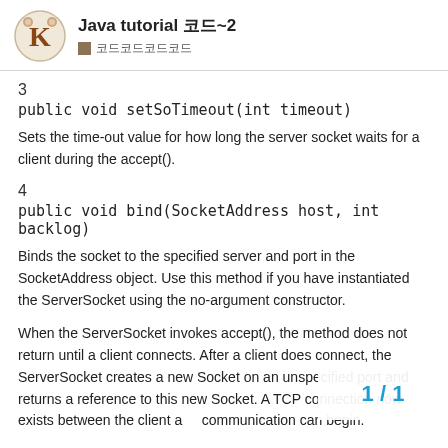Java tutorial 코드~2 ■ 코드코드코드코드
3
public void setSoTimeout(int timeout)
Sets the time-out value for how long the server socket waits for a client during the accept().
4
public void bind(SocketAddress host, int backlog)
Binds the socket to the specified server and port in the SocketAddress object. Use this method if you have instantiated the ServerSocket using the no-argument constructor.
When the ServerSocket invokes accept(), the method does not return until a client connects. After a client does connect, the ServerSocket creates a new Socket on an unspecified port and returns a reference to this new Socket. A TCP connection now exists between the client and the server, and communication can begin.